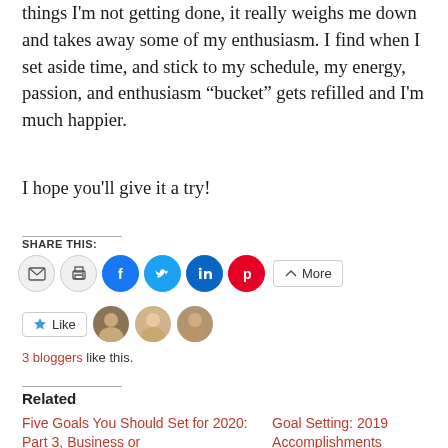things I’m not getting done, it really weighs me down and takes away some of my enthusiasm. I find when I set aside time, and stick to my schedule, my energy, passion, and enthusiasm “bucket” gets refilled and I’m much happier.
I hope you’ll give it a try!
Share this:
[Figure (infographic): Social share buttons: email, print, facebook, twitter, linkedin, pinterest, and a More button]
[Figure (infographic): Like button with 3 blogger avatar photos]
3 bloggers like this.
Related
Five Goals You Should Set for 2020: Part 3, Business or
Goal Setting: 2019 Accomplishments